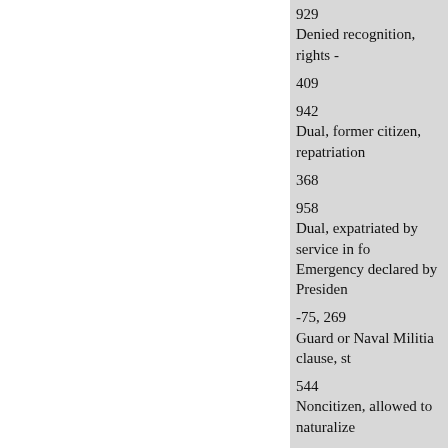929
Denied recognition, rights -
409
942
Dual, former citizen, repatriation
368
958
Dual, expatriated by service in fo
Emergency declared by Presiden
-75, 269
Guard or Naval Militia clause, st
544
Noncitizen, allowed to naturalize
370, 496 977
Origin, determination, by whom procedure.---
50, 86
Nationality:
(See also Citizenship.)
Ability:
To sign petition in own handwrit